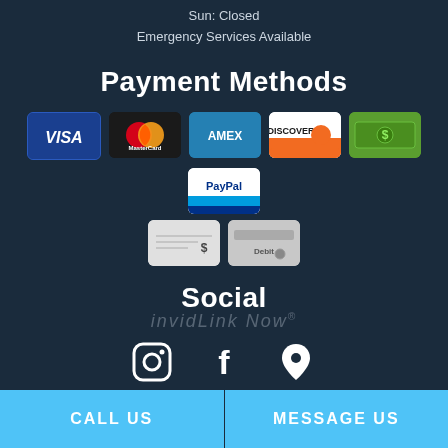Sun: Closed
Emergency Services Available
Payment Methods
[Figure (infographic): Payment method icons: Visa, MasterCard, American Express, Discover, Cash, PayPal, Check, Debit card]
Social
[Figure (infographic): Social media icons: Instagram, Facebook, Location pin]
invidLink Now®